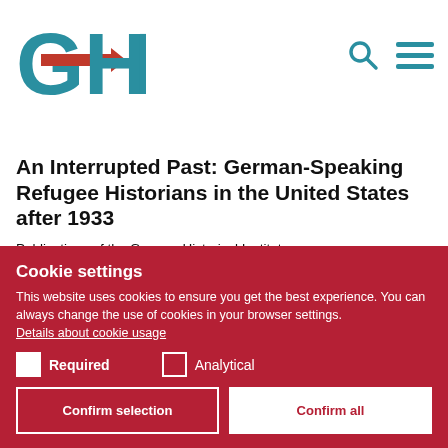[Figure (logo): GHI logo with teal G, red arrow, teal H and I letters]
[Figure (other): Search icon (magnifying glass) and hamburger menu icon in teal]
An Interrupted Past: German-Speaking Refugee Historians in the United States after 1933
Publications of the German Historical Institute. Cambridge University Press, 1991
Cookie settings
This website uses cookies to ensure you get the best experience. You can always change the use of cookies in your browser settings. Details about cookie usage
Required
Analytical
Confirm selection
Confirm all